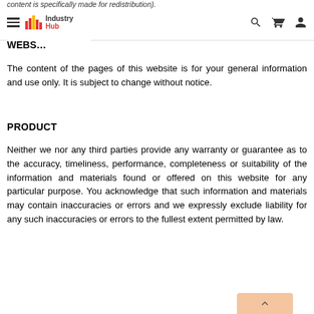content is specifically made for redistribution).
Industry Hub — navigation header with logo, search, cart, and account icons
WEBS...
The content of the pages of this website is for your general information and use only. It is subject to change without notice.
PRODUCT
Neither we nor any third parties provide any warranty or guarantee as to the accuracy, timeliness, performance, completeness or suitability of the information and materials found or offered on this website for any particular purpose. You acknowledge that such information and materials may contain inaccuracies or errors and we expressly exclude liability for any such inaccuracies or errors to the fullest extent permitted by law.